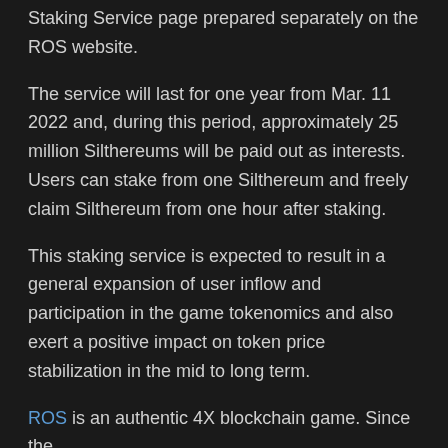Staking Service page prepared separately on the ROS website.
The service will last for one year from Mar. 11 2022 and, during this period, approximately 25 million Siltherеums will be paid out as interests. Users can stake from one Silthereum and freely claim Silthereum from one hour after staking.
This staking service is expected to result in a general expansion of user inflow and participation in the game tokenomics and also exert a positive impact on token price stabilization in the mid to long term.
ROS is an authentic 4X blockchain game. Since the